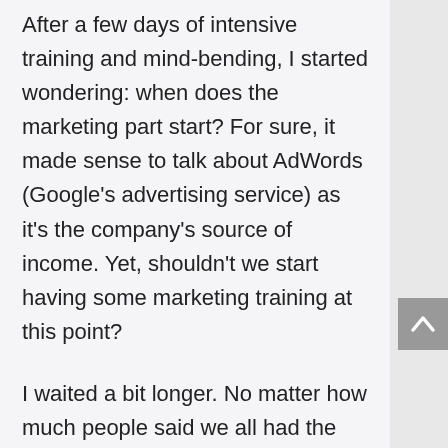After a few days of intensive training and mind-bending, I started wondering: when does the marketing part start? For sure, it made sense to talk about AdWords (Google's advertising service) as it's the company's source of income. Yet, shouldn't we start having some marketing training at this point?
I waited a bit longer. No matter how much people said we all had the same voice and space to speak up, it felt awkward. I didn't want to come across as difficult. Eventually, though, my curiosity won, and